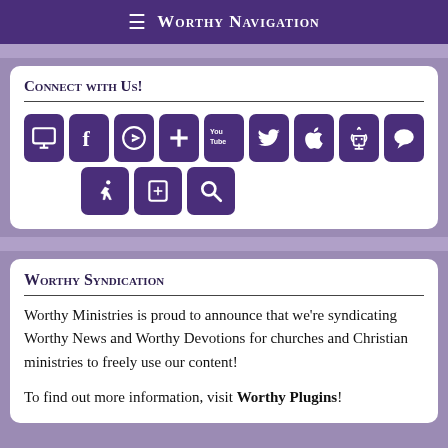≡ Worthy Navigation
Connect with Us!
[Figure (infographic): A grid of 12 purple rounded-square icon buttons representing social media and app links: monitor/screen, Facebook, Telegram, Google+, YouTube, Twitter, App Store, Android, chat bubble, prayer/kneeling person, Bible, Search/magnifying glass]
Worthy Syndication
Worthy Ministries is proud to announce that we're syndicating Worthy News and Worthy Devotions for churches and Christian ministries to freely use our content!
To find out more information, visit Worthy Plugins!